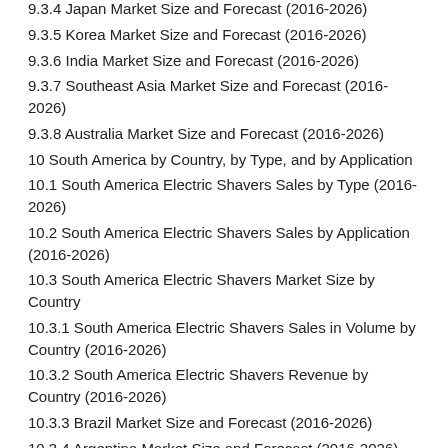9.3.4 Japan Market Size and Forecast (2016-2026)
9.3.5 Korea Market Size and Forecast (2016-2026)
9.3.6 India Market Size and Forecast (2016-2026)
9.3.7 Southeast Asia Market Size and Forecast (2016-2026)
9.3.8 Australia Market Size and Forecast (2016-2026)
10 South America by Country, by Type, and by Application
10.1 South America Electric Shavers Sales by Type (2016-2026)
10.2 South America Electric Shavers Sales by Application (2016-2026)
10.3 South America Electric Shavers Market Size by Country
10.3.1 South America Electric Shavers Sales in Volume by Country (2016-2026)
10.3.2 South America Electric Shavers Revenue by Country (2016-2026)
10.3.3 Brazil Market Size and Forecast (2016-2026)
10.3.4 Argentina Market Size and Forecast (2016-2026)
11 Middle East & Africa by Country, by Type, and by Application
11.1 Middle East & Africa Electric Shavers Sales by Type